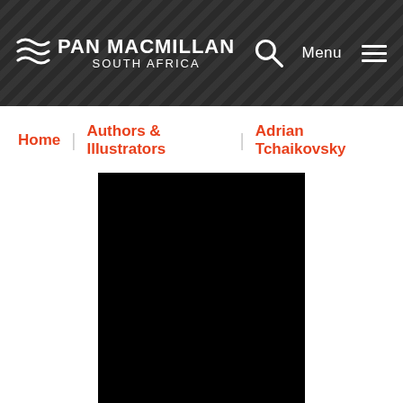PAN MACMILLAN SOUTH AFRICA
Home | Authors & Illustrators | Adrian Tchaikovsky
[Figure (photo): Black rectangle placeholder representing author photo of Adrian Tchaikovsky]